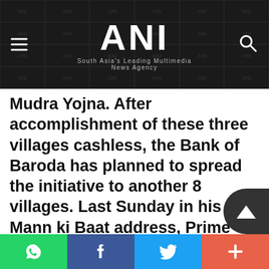ANI — South Asia's Leading Multimedia News Agency
Mudra Yojna. After accomplishment of these three villages cashless, the Bank of Baroda has planned to spread the initiative to another 8 villages. Last Sunday in his Mann ki Baat address, Prime Minister Narendra Modi urged the nation to move towards a cashless society, and said he took the decision to scrap Rs. 500 and 1,000 currency notes for the sake of the country's poor, farmers, labourers and deprived. In the 27...